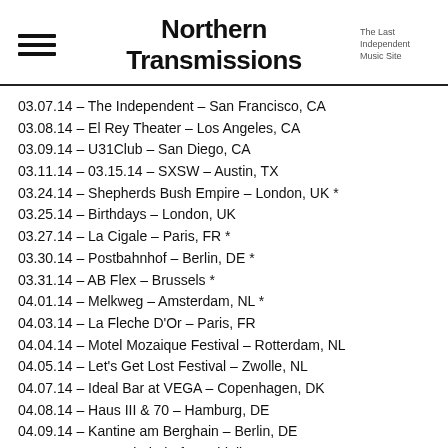Northern Transmissions — The Last Independent Music Site
03.07.14 – The Independent – San Francisco, CA
03.08.14 – El Rey Theater – Los Angeles, CA
03.09.14 – U31Club – San Diego, CA
03.11.14 – 03.15.14 – SXSW – Austin, TX
03.24.14 – Shepherds Bush Empire – London, UK *
03.25.14 – Birthdays – London, UK
03.27.14 – La Cigale – Paris, FR *
03.30.14 – Postbahnhof – Berlin, DE *
03.31.14 – AB Flex – Brussels *
04.01.14 – Melkweg – Amsterdam, NL *
04.03.14 – La Fleche D'Or – Paris, FR
04.04.14 – Motel Mozaique Festival – Rotterdam, NL
04.05.14 – Let's Get Lost Festival – Zwolle, NL
04.07.14 – Ideal Bar at VEGA – Copenhagen, DK
04.08.14 – Haus III & 70 – Hamburg, DE
04.09.14 – Kantine am Berghain – Berlin, DE
04.10.14 – Karstorbahnhof – Heidelberg, DE